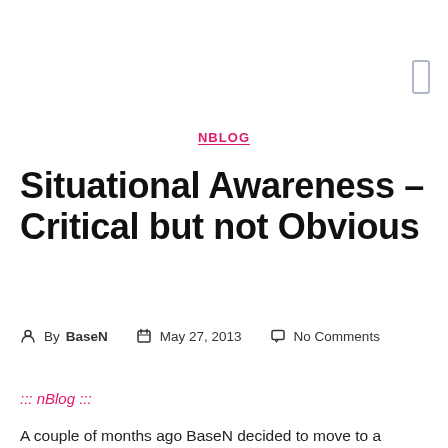NBLOG
Situational Awareness – Critical but not Obvious
By BaseN   May 27, 2013   No Comments
::: nBlog :::
A couple of months ago BaseN decided to move to a